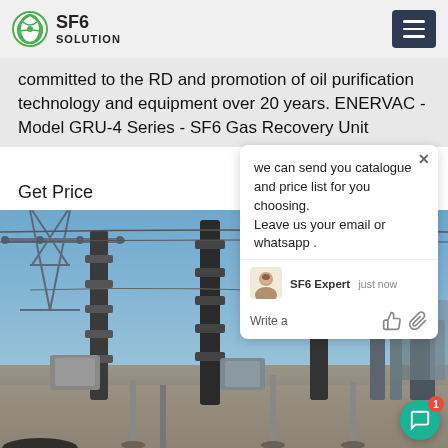SF6 SOLUTION
committed to the RD and promotion of oil purification technology and equipment over 20 years. ENERVAC - Model GRU-4 Series - SF6 Gas Recovery Unit
Get Price
[Figure (photo): Electrical substation with high-voltage equipment, insulators, and steel lattice structures against a clear sky]
we can send you catalogue and price list for you choosing. Leave us your email or whatsapp .
SF6 Expert   just now
Write a